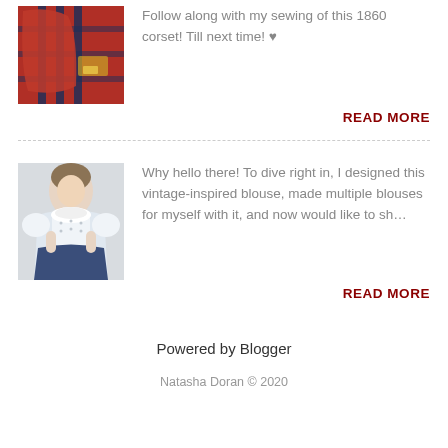[Figure (photo): Red and blue vintage garments hanging on rack]
Follow along with my sewing of this 1860 corset! Till next time! ♥
READ MORE
[Figure (photo): Person wearing white vintage-inspired blouse and blue high-waisted skirt]
Why hello there! To dive right in, I designed this vintage-inspired blouse, made multiple blouses for myself with it, and now would like to sh…
READ MORE
Powered by Blogger
Natasha Doran © 2020